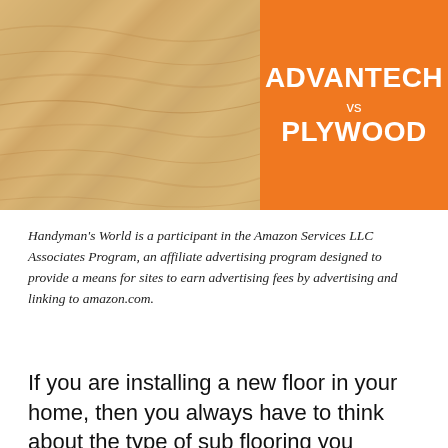[Figure (illustration): Header image showing wood texture on the left half and an orange panel on the right with text 'ADVANTECH vs PLYWOOD']
Handyman's World is a participant in the Amazon Services LLC Associates Program, an affiliate advertising program designed to provide a means for sites to earn advertising fees by advertising and linking to amazon.com.
If you are installing a new floor in your home, then you always have to think about the type of sub flooring you install.